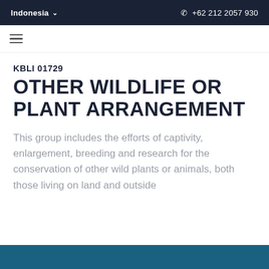Indonesia   +62 212 2057 930
KBLI 01729
OTHER WILDLIFE OR PLANT ARRANGEMENT
This group includes the efforts of captivity, enlargement, breeding and research for the conservation of other wild plants or animals, both those living on land and outside